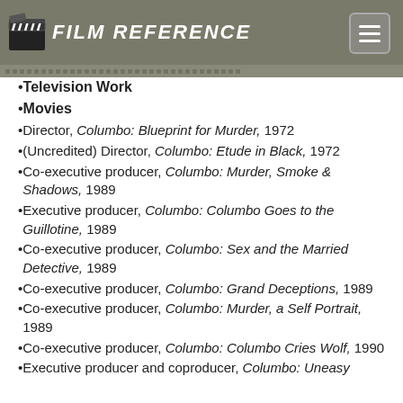FILM REFERENCE
Television Work
Movies
Director, Columbo: Blueprint for Murder, 1972
(Uncredited) Director, Columbo: Etude in Black, 1972
Co-executive producer, Columbo: Murder, Smoke & Shadows, 1989
Executive producer, Columbo: Columbo Goes to the Guillotine, 1989
Co-executive producer, Columbo: Sex and the Married Detective, 1989
Co-executive producer, Columbo: Grand Deceptions, 1989
Co-executive producer, Columbo: Murder, a Self Portrait, 1989
Co-executive producer, Columbo: Columbo Cries Wolf, 1990
Executive producer and coproducer, Columbo: Uneasy